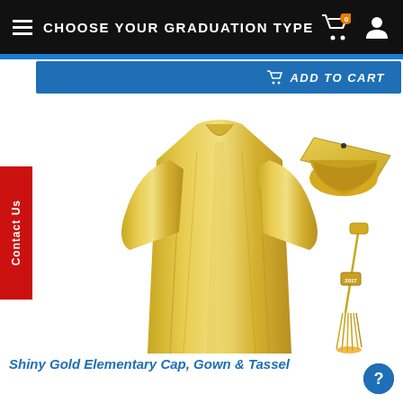CHOOSE YOUR GRADUATION TYPE
ADD TO CART
Contact Us
[Figure (photo): Shiny gold elementary graduation gown, mortarboard cap, and tassel displayed on white background]
Shiny Gold Elementary Cap, Gown & Tassel